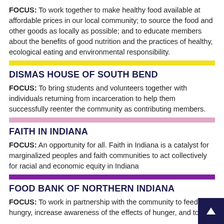FOCUS: To work together to make healthy food available at affordable prices in our local community; to source the food and other goods as locally as possible; and to educate members about the benefits of good nutrition and the practices of healthy, ecological eating and environmental responsibility.
DISMAS HOUSE OF SOUTH BEND
FOCUS: To bring students and volunteers together with individuals returning from incarceration to help them successfully reenter the community as contributing members.
FAITH IN INDIANA
FOCUS: An opportunity for all. Faith in Indiana is a catalyst for marginalized peoples and faith communities to act collectively for racial and economic equity in Indiana
FOOD BANK OF NORTHERN INDIANA
FOCUS: To work in partnership with the community to feed the hungry, increase awareness of the effects of hunger, and to lead